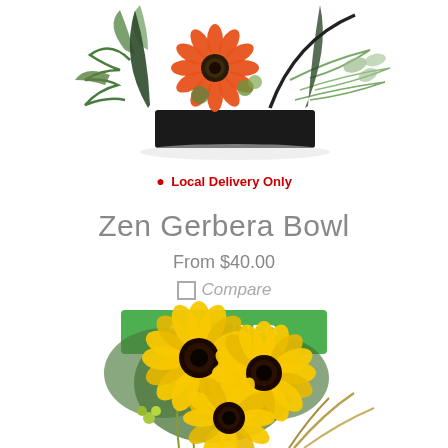[Figure (photo): Zen Gerbera Bowl floral arrangement: orange gerbera daisy with green foliage in a black rectangular container, partially cropped at top]
● Local Delivery Only
Zen Gerbera Bowl
From $40.00
☐ Compare
MORE INFO
[Figure (photo): Sunflower bouquet arrangement with large yellow sunflowers and green foliage, partially cropped at bottom of page]